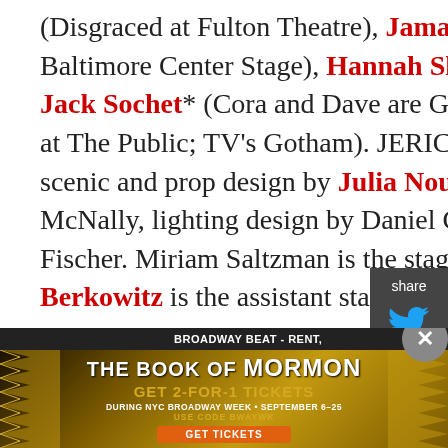(Disgraced at Fulton Theatre), Jamal James* (Shakespeare In Love at Baltimore Center Stage), Hannah Sloat* (War Horse on Broadway), and Jack Sochet* (Cora and Dave are Getting Older at EST, Word to the Action at The Public; TV's Gotham). JERICHO is produced by Ted Caine, with scenic and prop design by Julia Noulin-Merat, costume design by Bevin McNally, lighting design by Daniel Chapman, and sound design by Matthew Fischer. Miriam Saltzman is the stage manager, and Mariah Pepper Berkowitz is the assistant stage manager.
[Figure (infographic): Share sidebar with Twitter and Facebook icons on dark grey background]
[Figure (infographic): Advertisement banner for The Book of Mormon - Get 2-for-1 tickets during NYC Broadway Week September 6-25, use code BWAYWK]